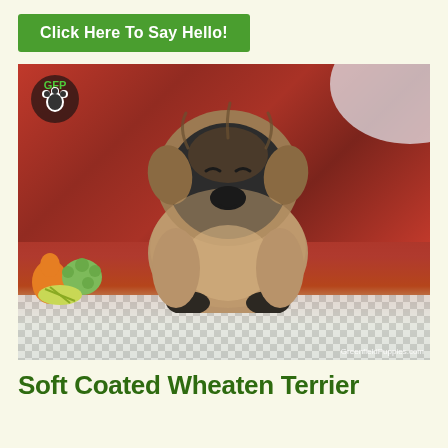Click Here To Say Hello!
[Figure (photo): A Soft Coated Wheaten Terrier puppy sitting on a checkered surface outdoors, with red autumn foliage in the background and colorful gourds to the left. GFP logo watermark in top left, GreenfieldPuppies.com watermark in bottom right.]
Soft Coated Wheaten Terrier